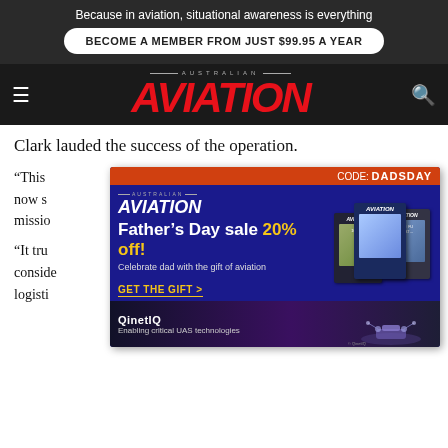Because in aviation, situational awareness is everything
BECOME A MEMBER FROM JUST $99.95 A YEAR
AVIATION
Clark lauded the success of the operation.
“This [person] who will now s[upport the] mission…
[Figure (infographic): Australian Aviation Father's Day sale advertisement with CODE: DADSDAY, 20% off, GET THE GIFT link, and magazine stack images]
“It tru[ly] consid[ered the] logisti[cs]…
QinetIQ — Enabling critical UAS technologies
The cargo and parachutes were later recovered by